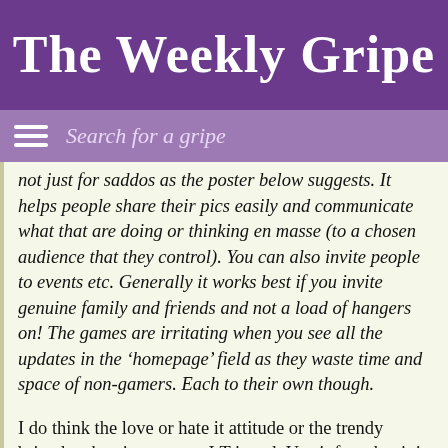The Weekly Gripe
Search for a gripe
not just for saddos as the poster below suggests. It helps people share their pics easily and communicate what that are doing or thinking en masse (to a chosen audience that they control). You can also invite people to events etc. Generally it works best if you invite genuine family and friends and not a load of hangers on! The games are irritating when you see all the updates in the ‘homepage’ field as they waste time and space of non-gamers. Each to their own though.
I do think the love or hate it attitude or the trendy brigade when it comes to I.T is sad. Use it for what it is designed for, pick and choose intelligently and be discriminating with who you allow access.
Golden rule is – if you wouldn’t invite them into your